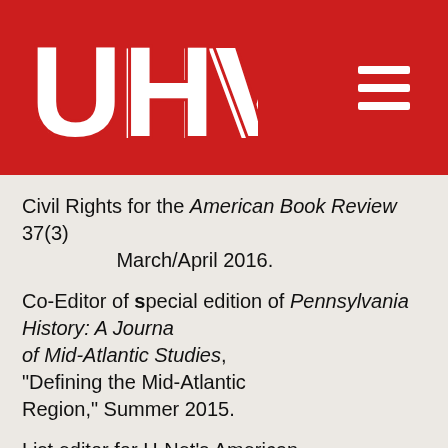[Figure (logo): UHV university logo in white block letters on red background header with hamburger menu icon]
Civil Rights for the American Book Review 37(3) March/April 2016.
Co-Editor of special edition of Pennsylvania History: A Journal of Mid-Atlantic Studies, "Defining the Mid-Atlantic Region," Summer 2015.
List editor for H-Net's American Studies list, H-AMSTUDY, 2011-2016.